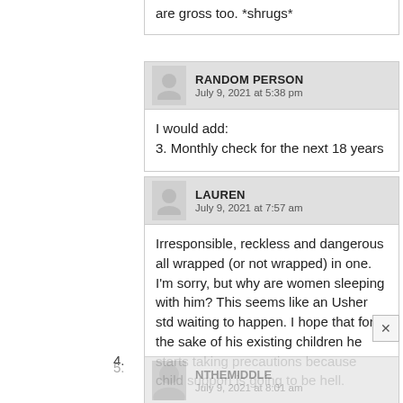are gross too. *shrugs*
RANDOM PERSON
July 9, 2021 at 5:38 pm
I would add:
3. Monthly check for the next 18 years
4.
LAUREN
July 9, 2021 at 7:57 am
Irresponsible, reckless and dangerous all wrapped (or not wrapped) in one. I'm sorry, but why are women sleeping with him? This seems like an Usher std waiting to happen. I hope that for the sake of his existing children he starts taking precautions because child support is going to be hell.
5.
NTHEMIDDLE
July 9, 2021 at 8:01 am